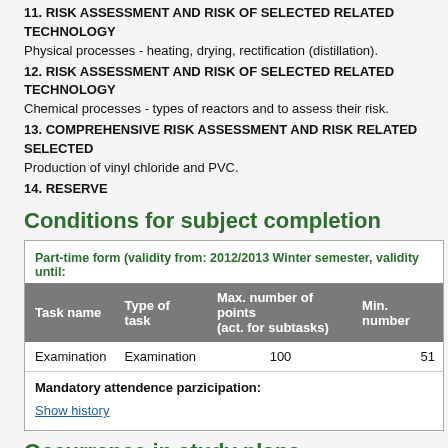11. RISK ASSESSMENT AND RISK OF SELECTED RELATED TECHNOLOGY
Physical processes - heating, drying, rectification (distillation).
12. RISK ASSESSMENT AND RISK OF SELECTED RELATED TECHNOLOGY
Chemical processes - types of reactors and to assess their risk.
13. COMPREHENSIVE RISK ASSESSMENT AND RISK RELATED SELECTED
Production of vinyl chloride and PVC.
14. RESERVE
Conditions for subject completion
Part-time form (validity from: 2012/2013 Winter semester, validity until:
| Task name | Type of task | Max. number of points (act. for subtasks) | Min. number |
| --- | --- | --- | --- |
| Examination | Examination | 100 | 51 |
Mandatory attendence parzicipation:
Show history
Occurrence in study plans
Show/Hide